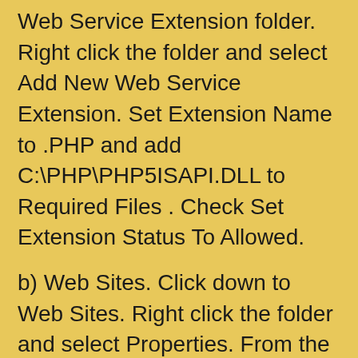Web Service Extension folder. Right click the folder and select Add New Web Service Extension. Set Extension Name to .PHP and add C:\PHP\PHP5ISAPI.DLL to Required Files . Check Set Extension Status To Allowed.
b) Web Sites. Click down to Web Sites. Right click the folder and select Properties. From the Home Directory tab click the Configuration button. Click Add to add an Application Extension. Enter C:\PHP\PHP5ISAPI.DLL as Executable and PHP as Extension. Leave the rest as default and click Ok.
F. Altest! To test your PHP installation simply